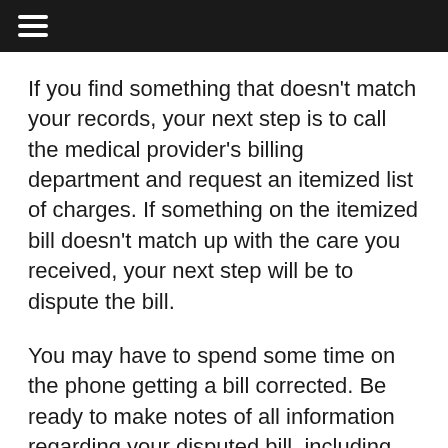≡
If you find something that doesn't match your records, your next step is to call the medical provider's billing department and request an itemized list of charges. If something on the itemized bill doesn't match up with the care you received, your next step will be to dispute the bill.
You may have to spend some time on the phone getting a bill corrected. Be ready to make notes of all information regarding your disputed bill, including documenting all the names of everyone you talk to, the dates of your calls and all follow-up information provided to you. Don't give up